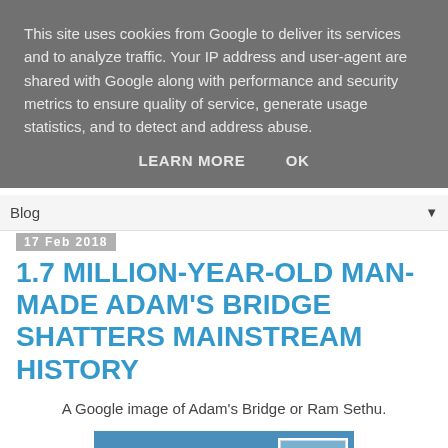This site uses cookies from Google to deliver its services and to analyze traffic. Your IP address and user-agent are shared with Google along with performance and security metrics to ensure quality of service, generate usage statistics, and to detect and address abuse.
LEARN MORE    OK
Blog
17 Feb 2018
1.7 MILLION-YEAR-OLD MAN-MADE ADAM'S BRIDGE SHATTERS MAINSTREAM HISTORY
A Google image of Adam's Bridge or Ram Sethu.
[Figure (photo): Satellite/aerial Google Maps image of Adam's Bridge (Ram Sethu), showing a narrow strip of land/shoals connecting India and Sri Lanka surrounded by blue water, with a small inset map in the upper right corner.]